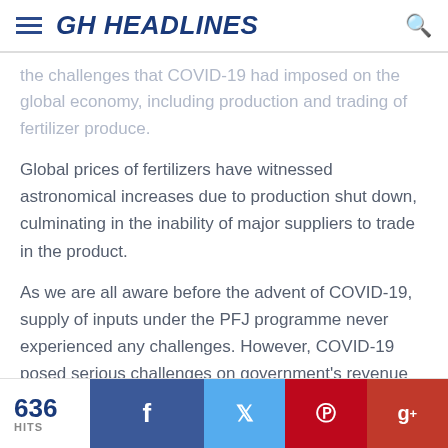GH HEADLINES
the challenges that COVID-19 had imposed on the global economy, including production and trading of fertilizer produce.
Global prices of fertilizers have witnessed astronomical increases due to production shut down, culminating in the inability of major suppliers to trade in the product.
As we are all aware before the advent of COVID-19, supply of inputs under the PFJ programme never experienced any challenges. However, COVID-19 posed serious challenges on government's revenue generation capacity, leading to the effects on general subsidy of fertilizers under the programme.
636 HITS | Facebook | Twitter | Pinterest | Google+